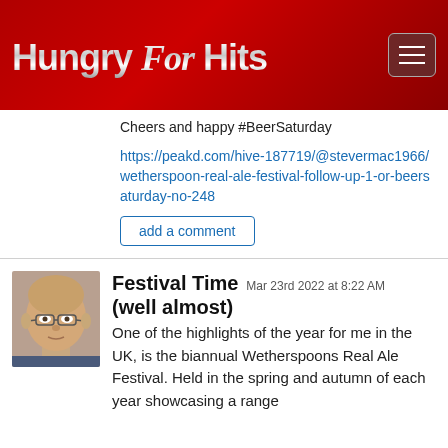Hungry For Hits
Cheers and happy #BeerSaturday
https://peakd.com/hive-187719/@stevermac1966/wetherspoon-real-ale-festival-follow-up-1-or-beersaturday-no-248
add a comment
[Figure (photo): Profile photo of a bald man with glasses]
Festival Time (well almost)
Mar 23rd 2022 at 8:22 AM
One of the highlights of the year for me in the UK, is the biannual Wetherspoons Real Ale Festival. Held in the spring and autumn of each year showcasing a range